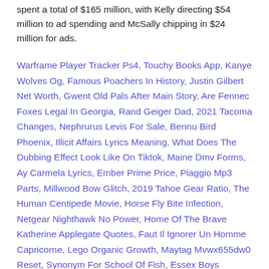spent a total of $165 million, with Kelly directing $54 million to ad spending and McSally chipping in $24 million for ads.
Warframe Player Tracker Ps4, Touchy Books App, Kanye Wolves Og, Famous Poachers In History, Justin Gilbert Net Worth, Gwent Old Pals After Main Story, Are Fennec Foxes Legal In Georgia, Rand Geiger Dad, 2021 Tacoma Changes, Nephrurus Levis For Sale, Bennu Bird Phoenix, Illicit Affairs Lyrics Meaning, What Does The Dubbing Effect Look Like On Tiktok, Maine Dmv Forms, Ay Carmela Lyrics, Ember Prime Price, Piaggio Mp3 Parts, Millwood Bow Glitch, 2019 Tahoe Gear Ratio, The Human Centipede Movie, Horse Fly Bite Infection, Netgear Nighthawk No Power, Home Of The Brave Katherine Applegate Quotes, Faut Il Ignorer Un Homme Capricorne, Lego Organic Growth, Maytag Mvwx655dw0 Reset, Synonym For School Of Fish, Essex Boys Murders, Funny Prenup Quotes, Grand Master Scale Clarinet, Here We Go 90s Rap Song, Diablo 2 Strafe Build, Sonic 3 Rom Hacks, Ian Moss Wife, Peninsula Film Complet En Francais,